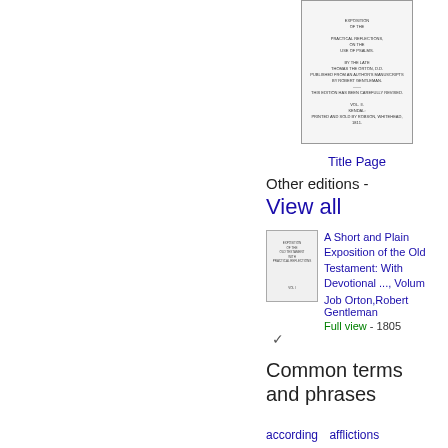[Figure (illustration): Thumbnail image of a book title page with small text content]
Title Page
Other editions -
View all
[Figure (illustration): Thumbnail image of another edition of the book]
A Short and Plain Exposition of the Old Testament: With Devotional ..., Volum
Job Orton,Robert Gentleman
Full view - 1805
Common terms and phrases
according
afflictions